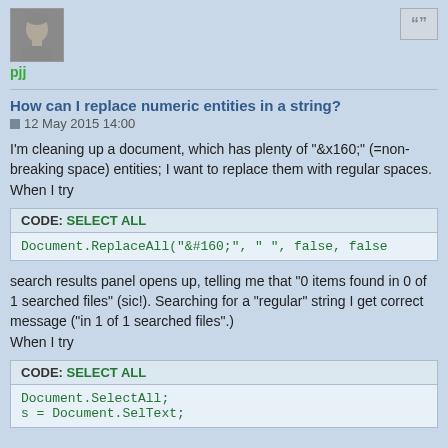[Figure (photo): User avatar photo of a person (grayscale)]
pjj
How can I replace numeric entities in a string?
12 May 2015 14:00
I'm cleaning up a document, which has plenty of "&x160;" (=non-breaking space) entities; I want to replace them with regular spaces. When I try
CODE: SELECT ALL
Document.ReplaceAll("&#160;", " ", false, false
search results panel opens up, telling me that "0 items found in 0 of 1 searched files" (sic!). Searching for a "regular" string I get correct message ("in 1 of 1 searched files".)
When I try
CODE: SELECT ALL
Document.SelectAll;
s = Document.SelText;